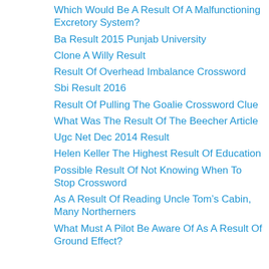Which Would Be A Result Of A Malfunctioning Excretory System?
Ba Result 2015 Punjab University
Clone A Willy Result
Result Of Overhead Imbalance Crossword
Sbi Result 2016
Result Of Pulling The Goalie Crossword Clue
What Was The Result Of The Beecher Article
Ugc Net Dec 2014 Result
Helen Keller The Highest Result Of Education
Possible Result Of Not Knowing When To Stop Crossword
As A Result Of Reading Uncle Tom’s Cabin, Many Northerners
What Must A Pilot Be Aware Of As A Result Of Ground Effect?